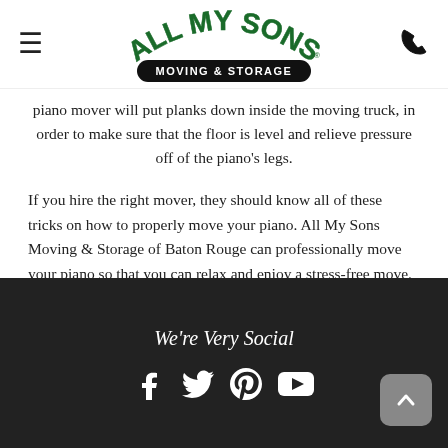All My Sons Moving & Storage [logo]
piano mover will put planks down inside the moving truck, in order to make sure that the floor is level and relieve pressure off of the piano's legs.
If you hire the right mover, they should know all of these tricks on how to properly move your piano. All My Sons Moving & Storage of Baton Rouge can professionally move your piano so that you can relax and enjoy a stress-free move.
We're Very Social [Facebook] [Twitter] [Pinterest] [YouTube]